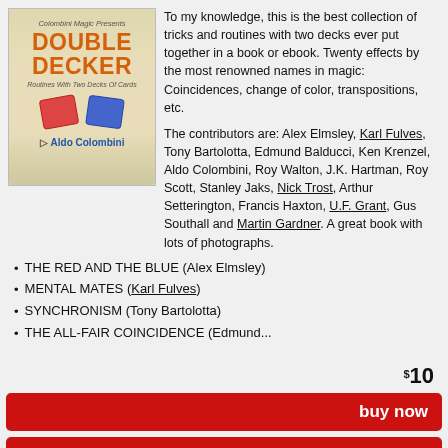[Figure (illustration): Book cover for 'Double Decker: Routines With Two Decks Of Cards' by Aldo Colombini, published by Colombini Magic. Orange title text on scroll-like parchment background with red and blue card deck icons.]
To my knowledge, this is the best collection of tricks and routines with two decks ever put together in a book or ebook. Twenty effects by the most renowned names in magic: Coincidences, change of color, transpositions, etc.

The contributors are: Alex Elmsley, Karl Fulves, Tony Bartolotta, Edmund Balducci, Ken Krenzel, Aldo Colombini, Roy Walton, J.K. Hartman, Roy Scott, Stanley Jaks, Nick Trost, Arthur Setterington, Francis Haxton, U.F. Grant, Gus Southall and Martin Gardner. A great book with lots of photographs.
THE RED AND THE BLUE (Alex Elmsley)
MENTAL MATES (Karl Fulves)
SYNCHRONISM (Tony Bartolotta)
THE ALL-FAIR COINCIDENCE (Edmund...
$10
buy now
add to cart
to wish list
PDF